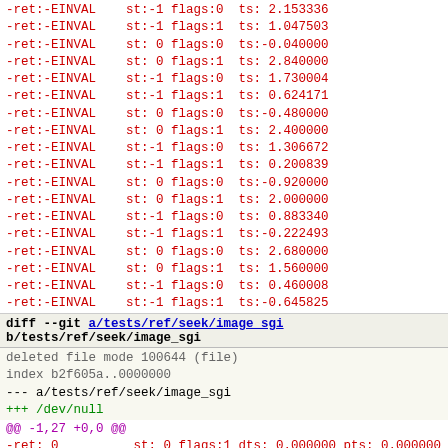-ret:-EINVAL    st:-1 flags:0  ts: 2.153336
-ret:-EINVAL    st:-1 flags:1  ts: 1.047503
-ret:-EINVAL    st: 0 flags:0  ts:-0.040000
-ret:-EINVAL    st: 0 flags:1  ts: 2.840000
-ret:-EINVAL    st:-1 flags:0  ts: 1.730004
-ret:-EINVAL    st:-1 flags:1  ts: 0.624171
-ret:-EINVAL    st: 0 flags:0  ts:-0.480000
-ret:-EINVAL    st: 0 flags:1  ts: 2.400000
-ret:-EINVAL    st:-1 flags:0  ts: 1.306672
-ret:-EINVAL    st:-1 flags:1  ts: 0.200839
-ret:-EINVAL    st: 0 flags:0  ts:-0.920000
-ret:-EINVAL    st: 0 flags:1  ts: 2.000000
-ret:-EINVAL    st:-1 flags:0  ts: 0.883340
-ret:-EINVAL    st:-1 flags:1  ts:-0.222493
-ret:-EINVAL    st: 0 flags:0  ts: 2.680000
-ret:-EINVAL    st: 0 flags:1  ts: 1.560000
-ret:-EINVAL    st:-1 flags:0  ts: 0.460008
-ret:-EINVAL    st:-1 flags:1  ts:-0.645825
diff --git a/tests/ref/seek/image_sgi b/tests/ref/seek/image_sgi
deleted file mode 100644 (file)
index b2f605a..0000000
--- a/tests/ref/seek/image_sgi
+++ /dev/null
@@ -1,27 +0,0 @@
-ret: 0          st: 0 flags:1 dts: 0.000000 pts: 0.000000 pc
-ret:-EINVAL    st:-1 flags:0  ts:-1.000000
-ret:-EINVAL    st:-1 flags:1  ts: 1.894167
-ret:-EINVAL    st: 0 flags:0  ts: 0.800000
-ret:-EINVAL    st: 0 flags:1  ts:-0.320000
-ret:-EINVAL    st:-1 flags:0  ts: 2.576669